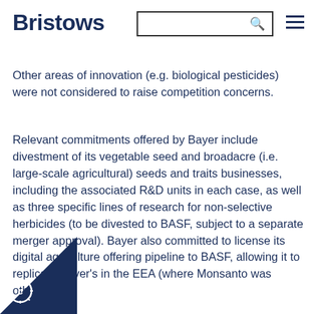Bristows [search bar] [menu icon]
Other areas of innovation (e.g. biological pesticides) were not considered to raise competition concerns.
Relevant commitments offered by Bayer include divestment of its vegetable seed and broadacre (i.e. large-scale agricultural) seeds and traits businesses, including the associated R&D units in each case, as well as three specific lines of research for non-selective herbicides (to be divested to BASF, subject to a separate merger approval). Bayer also committed to license its digital agriculture offering pipeline to BASF, allowing it to replicate Bayer's in the EEA (where Monsanto was otherwise